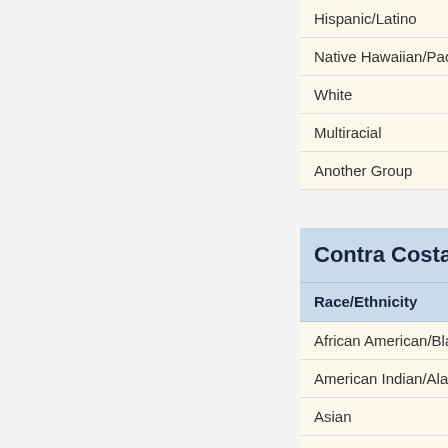| Race/Ethnicity |
| --- |
| Hispanic/Latino |
| Native Hawaiian/Pacific I... |
| White |
| Multiracial |
| Another Group |
| Contra Costa C... | Race/Ethnicity |
| --- | --- |
| African American/Black |
| American Indian/Alaska N... |
| Asian |
| Hispanic/Latino |
| Native Hawaiian/Pacific I... |
| White |
| Multiracial |